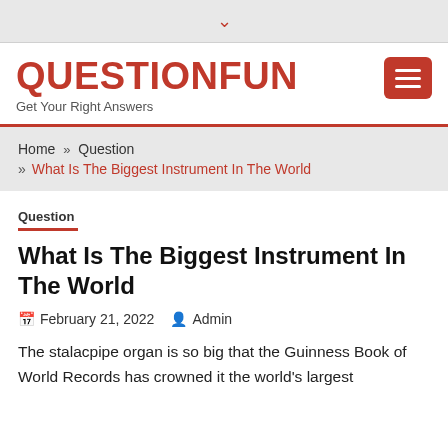▾
QUESTIONFUN
Get Your Right Answers
Home » Question » What Is The Biggest Instrument In The World
Question
What Is The Biggest Instrument In The World
February 21, 2022  Admin
The stalacpipe organ is so big that the Guinness Book of World Records has crowned it the world's largest